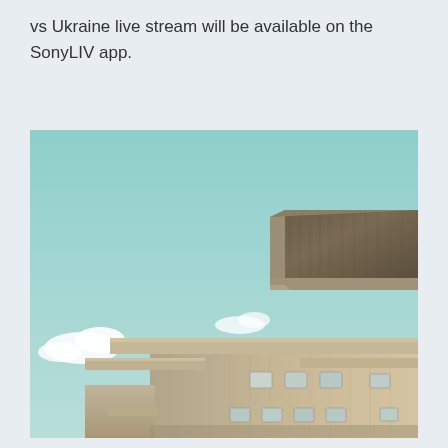vs Ukraine live stream will be available on the SonyLIV app.
[Figure (photo): Photograph of a brutalist concrete building with a large rectangular block structure on top, set against a pale teal sky with a small white cloud. The building features stepped, angular concrete platforms and rectangular windows on its lower facade.]